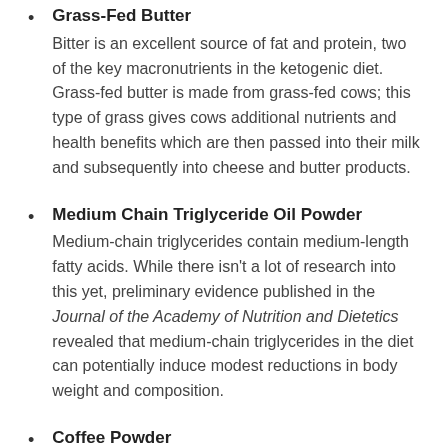Grass-Fed Butter
Bitter is an excellent source of fat and protein, two of the key macronutrients in the ketogenic diet. Grass-fed butter is made from grass-fed cows; this type of grass gives cows additional nutrients and health benefits which are then passed into their milk and subsequently into cheese and butter products.
Medium Chain Triglyceride Oil Powder
Medium-chain triglycerides contain medium-length fatty acids. While there isn't a lot of research into this yet, preliminary evidence published in the Journal of the Academy of Nutrition and Dietetics revealed that medium-chain triglycerides in the diet can potentially induce modest reductions in body weight and composition.
Coffee Powder
Coffee powder is a key ingredient in It Works! Keto